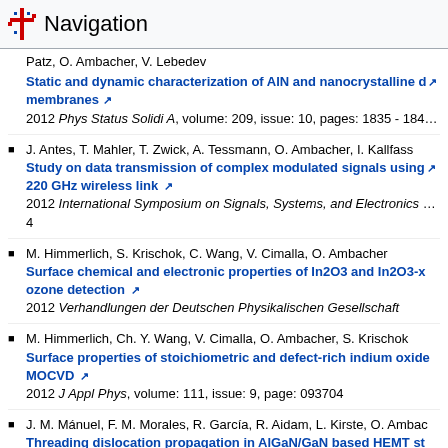Navigation
Patz, O. Ambacher, V. Lebedev — Static and dynamic characterization of AlN and nanocrystalline diamond membranes — 2012 Phys Status Solidi A, volume: 209, issue: 10, pages: 1835 - 1841
J. Antes, T. Mahler, T. Zwick, A. Tessmann, O. Ambacher, I. Kallfass — Study on data transmission of complex modulated signals using a 220 GHz wireless link — 2012 International Symposium on Signals, Systems, and Electronics (...) 4
M. Himmerlich, S. Krischok, C. Wang, V. Cimalla, O. Ambacher — Surface chemical and electronic properties of In2O3 and In2O3-x for ozone detection — 2012 Verhandlungen der Deutschen Physikalischen Gesellschaft
M. Himmerlich, Ch. Y. Wang, V. Cimalla, O. Ambacher, S. Krischok — Surface properties of stoichiometric and defect-rich indium oxide films grown by MOCVD — 2012 J Appl Phys, volume: 111, issue: 9, page: 093704
J. M. Mánuel, F. M. Morales, R. García, R. Aidam, L. Kirste, O. Ambacher — Threading dislocation propagation in AlGaN/GaN based HEMT structures on Si (111) by plasma assisted molecular beam epitaxy — 2012 J Cryst Growth, volume: 357, pages: 35 - 41
P. Waltereit, W. Bronner, R. Kiefer, R. Quay, M. Dammmann, M. Cäsar, Müller, M. Mikulla, O. Ambacher — Trade-offs between performance and reliability in AlGaN/GaN tran... — 2012 physica status solidi c, volume: 9, issue: 2, pages: 365 - 368